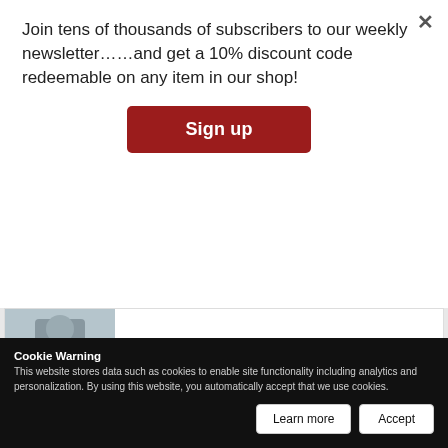Join tens of thousands of subscribers to our weekly newsletter……and get a 10% discount code redeemable on any item in our shop!
[Figure (screenshot): Sign up button (dark red/crimson background, white bold text 'Sign up')]
[Figure (photo): Partial photo of a person in suit at top of page]
TURKEY - TRANSPORT
7.5% Growth in 2019
CEO, DP World Yarımca
7.5% GROWTH IN 2019
[Figure (photo): Photo of a middle-aged man with short gray-brown hair, wearing a dark suit, against a red background]
Cookie Warning
This website stores data such as cookies to enable site functionality including analytics and personalization. By using this website, you automatically accept that we use cookies.